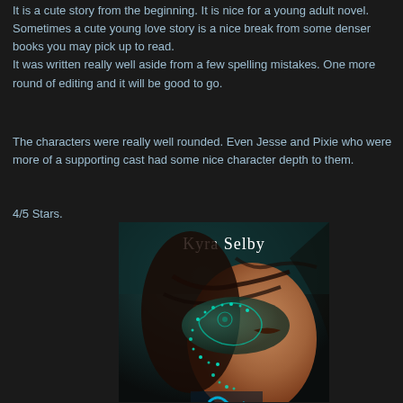It is a cute story from the beginning. It is nice for a young adult novel. Sometimes a cute young love story is a nice break from some denser books you may pick up to read. It was written really well aside from a few spelling mistakes. One more round of editing and it will be good to go.
The characters were really well rounded. Even Jesse and Pixie who were more of a supporting cast had some nice character depth to them.
4/5 Stars.
[Figure (photo): Book cover for a novel by Kyra Selby, showing a young woman with closed eyes wearing a decorative masquerade mask with glowing teal/green dotted swirls. Her dark hair blows across her face. The author name 'Kyra Selby' appears at the top in white serif text on a dark teal background.]